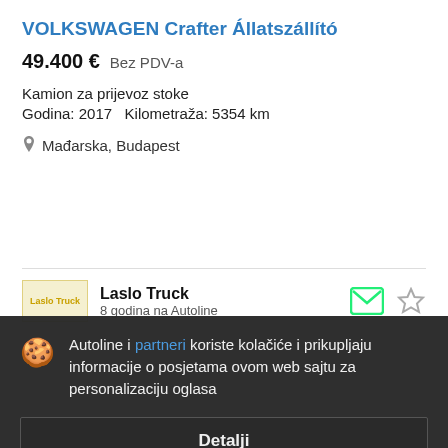VOLKSWAGEN Crafter Állatszállító
49.400 €  Bez PDV-a
Kamion za prijevoz stoke
Godina: 2017  Kilometraža: 5354 km
Mađarska, Budapest
Laslo Truck
8 godina na Autoline
Autoline i partneri koriste kolačiće i prikupljaju informacije o posjetama ovom web sajtu za personalizaciju oglasa
Detalji
Slažem se i zatvori